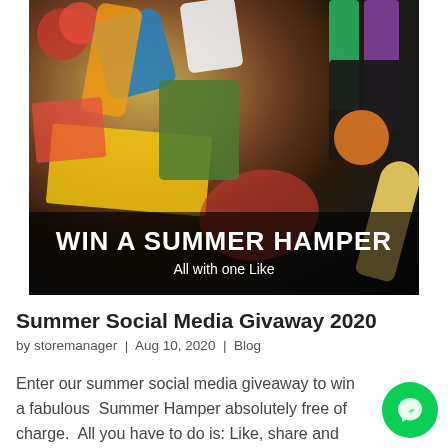[Figure (photo): A hamper basket filled with various food and drink items including KP nuts, pasta, wine, jars and other grocery items. Overlaid with text 'WIN A SUMMER HAMPER' and 'All with one Like' on a dark semi-transparent banner at the bottom of the image.]
Summer Social Media Givaway 2020
by storemanager  |  Aug 10, 2020  |  Blog
Enter our summer social media giveaway to win a fabulous  Summer Hamper absolutely free of charge.  All you have to do is: Like, share and follow